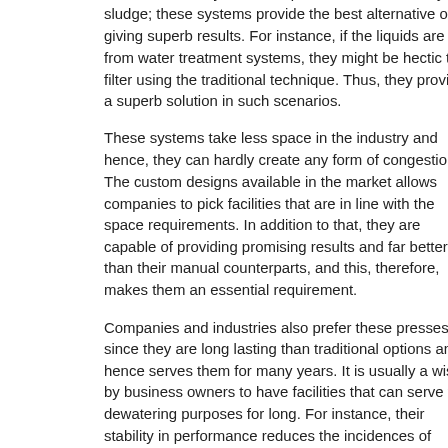case, the industry has been presented with a heavy sludge; these systems provide the best alternative of giving superb results. For instance, if the liquids are from water treatment systems, they might be hectic to filter using the traditional technique. Thus, they provide a superb solution in such scenarios.
These systems take less space in the industry and hence, they can hardly create any form of congestion. The custom designs available in the market allows companies to pick facilities that are in line with the space requirements. In addition to that, they are capable of providing promising results and far better than their manual counterparts, and this, therefore, makes them an essential requirement.
Companies and industries also prefer these presses since they are long lasting than traditional options and hence serves them for many years. It is usually a wish by business owners to have facilities that can serve the dewatering purposes for long. For instance, their stability in performance reduces the incidences of damage. Also, they are crafted using stainless steel that resists corrosion.